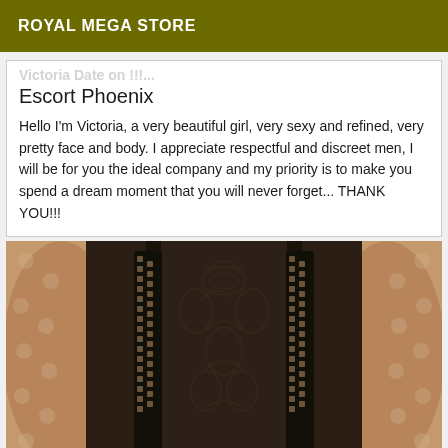ROYAL MEGA STORE
Escort Phoenix
Hello I'm Victoria, a very beautiful girl, very sexy and refined, very pretty face and body. I appreciate respectful and discreet men, I will be for you the ideal company and my priority is to make you spend a dream moment that you will never forget... THANK YOU!!!
[Figure (photo): Close-up photo of a person wearing black lace lingerie/bodysuit against a light background with dots.]